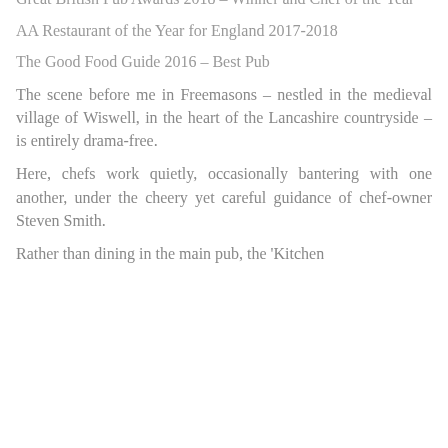Great British Pub Awards 2018 – Winner and Chef of the Year
AA Restaurant of the Year for England 2017-2018
The Good Food Guide 2016 – Best Pub
The scene before me in Freemasons – nestled in the medieval village of Wiswell, in the heart of the Lancashire countryside – is entirely drama-free.
Here, chefs work quietly, occasionally bantering with one another, under the cheery yet careful guidance of chef-owner Steven Smith.
Rather than dining in the main pub, the 'Kitchen